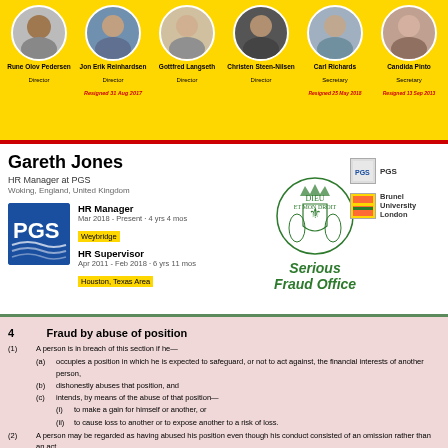[Figure (infographic): Yellow banner with 6 circular person photos showing PGS directors and secretaries with names and resignation dates]
[Figure (infographic): LinkedIn profile of Gareth Jones, HR Manager at PGS, with PGS logo, Serious Fraud Office crest, and company links]
[Figure (infographic): Serious Fraud Office crest with italic text 'Serious Fraud Office']
4   Fraud by abuse of position
(1) A person is in breach of this section if he—
(a) occupies a position in which he is expected to safeguard, or not to act against, the financial interests of another person,
(b) dishonestly abuses that position, and
(c) intends, by means of the abuse of that position—
(i) to make a gain for himself or another, or
(ii) to cause loss to another or to expose another to a risk of loss.
(2) A person may be regarded as having abused his position even though his conduct consisted of an omission rather than an act.
[Figure (infographic): Bottom collage with flags (UK, France, Japan, South Korea, Norway), French & Williams logo, PGS logo, Thai flag, Luxembourg, Portugal flags, and various document screenshots]